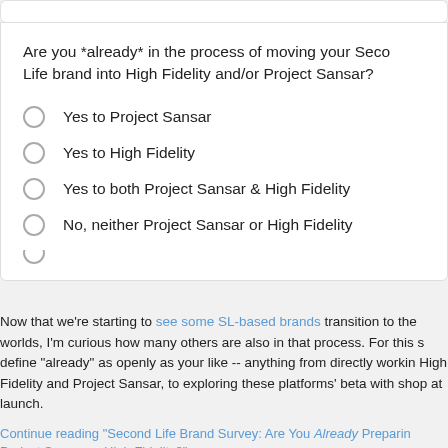Are you *already* in the process of moving your Second Life brand into High Fidelity and/or Project Sansar?
Yes to Project Sansar
Yes to High Fidelity
Yes to both Project Sansar & High Fidelity
No, neither Project Sansar or High Fidelity
Now that we're starting to see some SL-based brands transition to the worlds, I'm curious how many others are also in that process. For this s define "already" as openly as your like -- anything from directly workin High Fidelity and Project Sansar, to exploring these platforms' beta with shop at launch.
Continue reading "Second Life Brand Survey: Are You Already Preparing Project Sansar or High Fidelity?" »